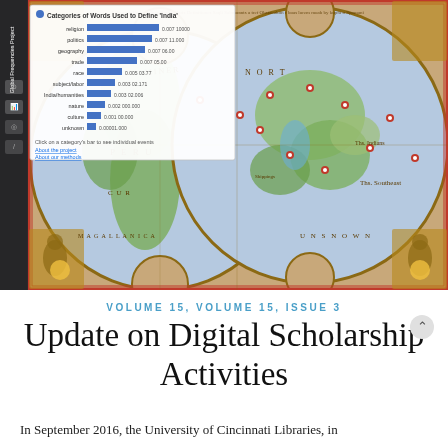[Figure (screenshot): Screenshot of a digital humanities web application showing a historical world map (double-hemisphere, antique style with decorative borders and figures) with red pin markers placed at various world locations. An overlay panel in the upper left shows a bar chart titled 'Categories of Words Used to Define India' with categories including religion, politics, geography, trade, race, subject/labor, India/humanities, nature, culture, unknown. A vertical sidebar on the left contains navigation icons and labels.]
[Figure (bar-chart): Categories of Words Used to Define 'India']
VOLUME 15, VOLUME 15, ISSUE 3
Update on Digital Scholarship Activities
In September 2016, the University of Cincinnati Libraries, in